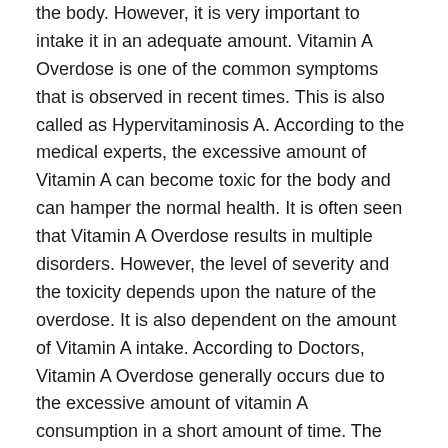the body. However, it is very important to intake it in an adequate amount. Vitamin A Overdose is one of the common symptoms that is observed in recent times. This is also called as Hypervitaminosis A. According to the medical experts, the excessive amount of Vitamin A can become toxic for the body and can hamper the normal health. It is often seen that Vitamin A Overdose results in multiple disorders. However, the level of severity and the toxicity depends upon the nature of the overdose. It is also dependent on the amount of Vitamin A intake. According to Doctors, Vitamin A Overdose generally occurs due to the excessive amount of vitamin A consumption in a short amount of time. The duration can be of days and even hours to be precise.
Vitamin A is probably the most significant element needed for the overall development of the body. It is an essential element of vision, skin, immune, heart function, and many other body elements. This to...